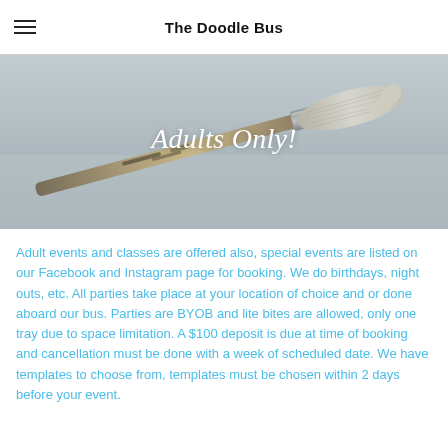The Doodle Bus
[Figure (photo): Close-up photo of a worn paint brush with white/cream bristles resting on a light surface, with text overlay 'Adults Only!']
Adult events and classes are offered also, special events are listed on our Facebook and Instagram page for booking. We do birthdays, night outs, etc. All parties take place at your location of choice and or done aboard our bus. Parties are BYOB and lite bites are allowed, only one tray due to space limitation. A $100 deposit is due at time of booking and cancellation must be done with a week of scheduled date. We have templates to choose from, templates must be chosen within 2 days before your event.